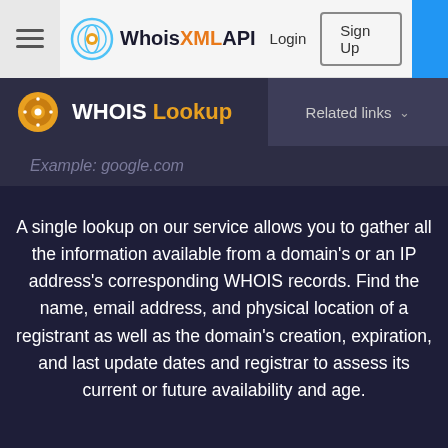WhoisXMLAPI  Login  Sign Up
WHOIS Lookup  Related links
Example: google.com
A single lookup on our service allows you to gather all the information available from a domain's or an IP address's corresponding WHOIS records. Find the name, email address, and physical location of a registrant as well as the domain's creation, expiration, and last update dates and registrar to assess its current or future availability and age.